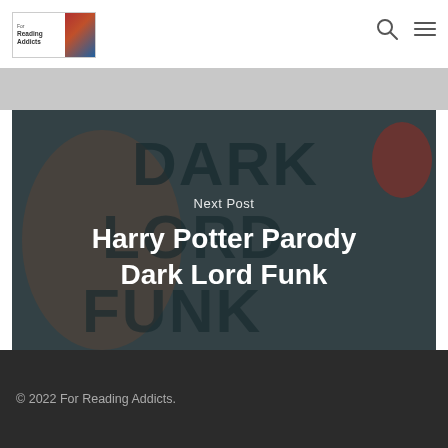[Figure (logo): For Reading Addicts website logo with text and colored image portion]
[Figure (photo): Dark background photo showing person wearing sunglasses with large text letters DARK LORD FUNK visible in background. Overlaid with Next Post label and title text.]
Next Post
Harry Potter Parody Dark Lord Funk
© 2022 For Reading Addicts.